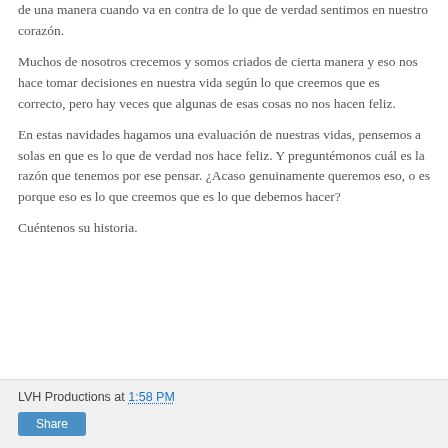de una manera cuando va en contra de lo que de verdad sentimos en nuestro corazón.
Muchos de nosotros crecemos y somos criados de cierta manera y eso nos hace tomar decisiones en nuestra vida según lo que creemos que es correcto, pero hay veces que algunas de esas cosas no nos hacen feliz.
En estas navidades hagamos una evaluación de nuestras vidas, pensemos a solas en que es lo que de verdad nos hace feliz. Y preguntémonos cuál es la razón que tenemos por ese pensar. ¿Acaso genuinamente queremos eso, o es porque eso es lo que creemos que es lo que debemos hacer?
Cuéntenos su historia.
LVH Productions at 1:58 PM  Share